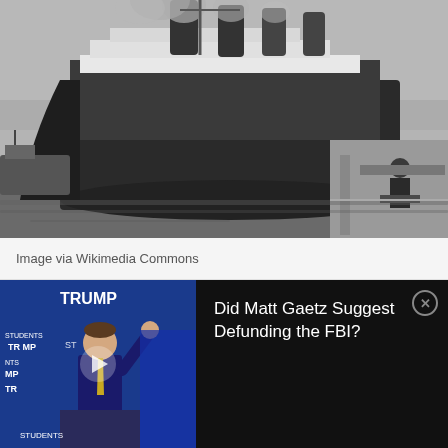[Figure (photo): Black and white historical photograph of the RMS Titanic docked at port, with smoke rising from its funnels. Workers and dockside equipment visible on the right.]
Image via Wikimedia Commons
[Figure (screenshot): Video advertisement showing a man in a blue suit raising his hand at a Trump event on the left side, and a dark background with text on the right side reading 'Did Matt Gaetz Suggest Defunding the FBI?' with a close button.]